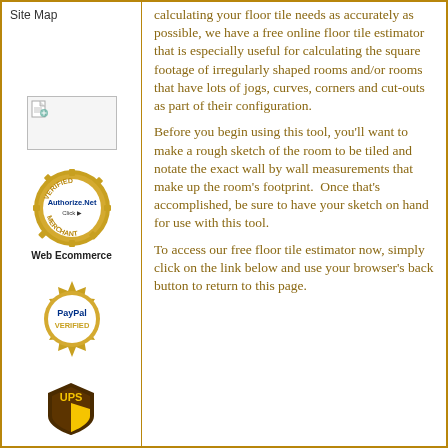Site Map
[Figure (illustration): Small image placeholder with a page/document icon]
[Figure (logo): Authorize.Net Verified Merchant badge - circular gold seal with Authorize.Net Click logo in center]
Web Ecommerce
[Figure (logo): PayPal Verified gold seal badge]
[Figure (logo): UPS logo shield in brown and yellow]
calculating your floor tile needs as accurately as possible, we have a free online floor tile estimator that is especially useful for calculating the square footage of irregularly shaped rooms and/or rooms that have lots of jogs, curves, corners and cut-outs as part of their configuration.
Before you begin using this tool, you'll want to make a rough sketch of the room to be tiled and notate the exact wall by wall measurements that make up the room's footprint.  Once that's accomplished, be sure to have your sketch on hand for use with this tool.
To access our free floor tile estimator now, simply click on the link below and use your browser's back button to return to this page.